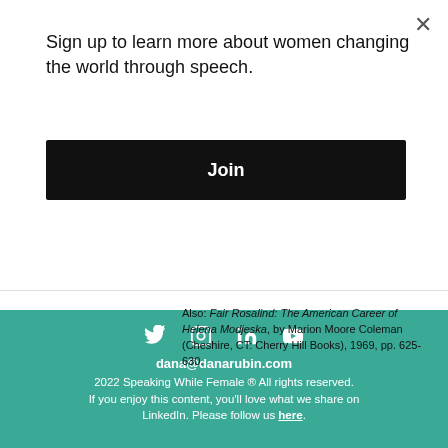Sign up to learn more about women changing the world through speech.
Join
McNally & Company,1894, pp. 738-749.
Also: Fair Rosalind: The American Career of Helena Modjeska, by Marion Moore Coleman (Cheshire, CT: Cherry Hill Books), 1969, pp. 625-630.
dana@danarubin.com
2022 Speaking While Female ® All rights reserved.
If you enjoy this content, you'll love what we share on LinkedIn. Please follow us here.